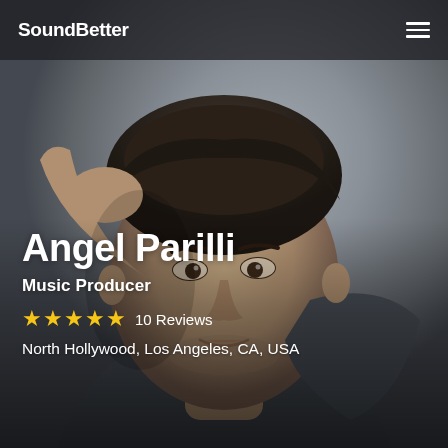SoundBetter
[Figure (photo): Portrait photo of Angel Parilli, a man with dark hair wearing a dark grey sweatshirt, hand raised to his head, against a grey background]
Angel Parilli
Music Producer
★★★★★ 10 Reviews
North Hollywood, Los Angeles, CA, USA